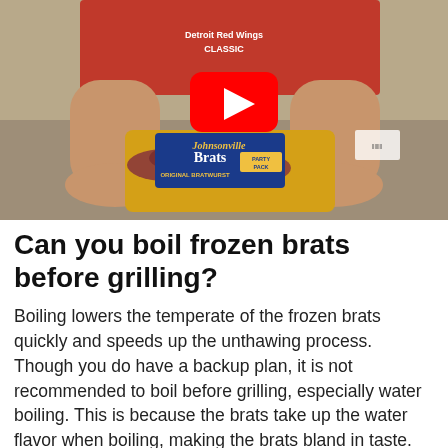[Figure (screenshot): YouTube video thumbnail showing a person holding a package of Johnsonville Brats (Original Bratwurst, Party Pack) on a granite countertop. A red YouTube play button is overlaid in the center.]
Can you boil frozen brats before grilling?
Boiling lowers the temperate of the frozen brats quickly and speeds up the unthawing process. Though you do have a backup plan, it is not recommended to boil before grilling, especially water boiling. This is because the brats take up the water flavor when boiling, making the brats bland in taste.